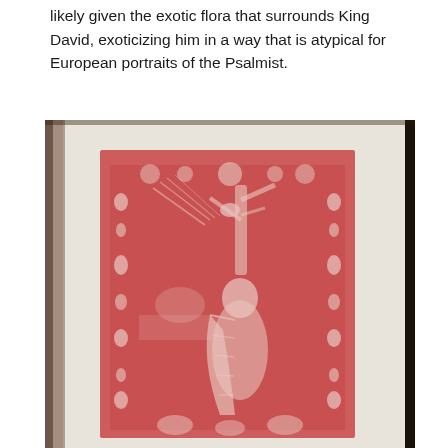likely given the exotic flora that surrounds King David, exoticizing him in a way that is atypical for European portraits of the Psalmist.
[Figure (illustration): A red and white woodcut or printed illustration showing King David seated playing a harp, surrounded by exotic flora and decorative Renaissance border with floral and face motifs. The image appears to be from an early printed book, photographed on a white page with dark edges visible at top and sides.]